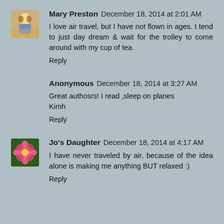[Figure (illustration): Avatar image for Mary Preston - animated character]
Mary Preston  December 18, 2014 at 2:01 AM
I love air travel, but I have not flown in ages. I tend to just day dream & wait for the trolley to come around with my cup of tea.
Reply
Anonymous  December 18, 2014 at 3:27 AM
Great authosrs! I read ,sleep on planes
Kimh
Reply
[Figure (photo): Avatar image for Jo's Daughter - pink flower/rose]
Jo's Daughter  December 18, 2014 at 4:17 AM
I have never traveled by air, because of the idea alone is making me anything BUT relaxed :)
Reply